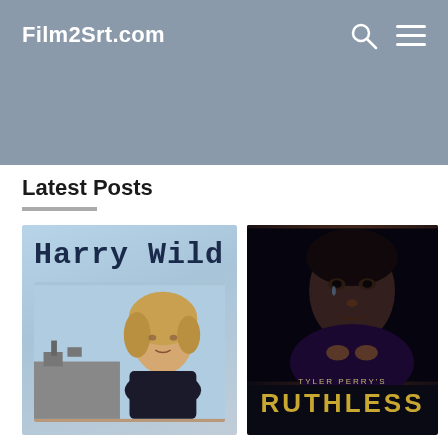Film2Srt.com
Latest Posts
[Figure (photo): Harry Wild TV show poster showing a blonde woman in front of a manor house with the show title 'Harry Wild' in typewriter font]
[Figure (photo): Tyler Perry's Ruthless TV show poster showing a Black woman's face on a dark background with 'TYLER PERRY'S RUTHLESS' text at the bottom in gold]